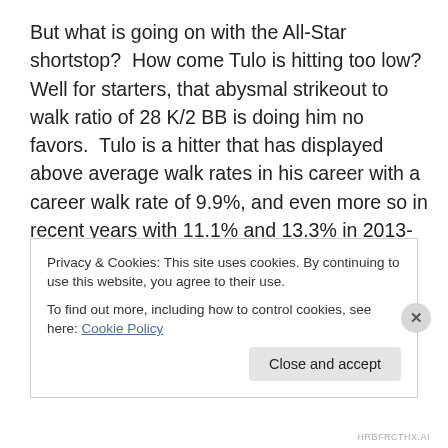But what is going on with the All-Star shortstop?  How come Tulo is hitting too low?  Well for starters, that abysmal strikeout to walk ratio of 28 K/2 BB is doing him no favors.  Tulo is a hitter that has displayed above average walk rates in his career with a career walk rate of 9.9%, and even more so in recent years with 11.1% and 13.3% in 2013-14.  But he appears to be jumping out of his cleats to swing at the ball, and when he is swinging at
Privacy & Cookies: This site uses cookies. By continuing to use this website, you agree to their use.
To find out more, including how to control cookies, see here: Cookie Policy
Close and accept